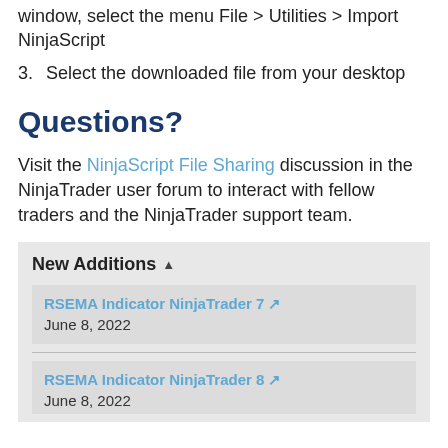window, select the menu File > Utilities > Import NinjaScript
3. Select the downloaded file from your desktop
Questions?
Visit the NinjaScript File Sharing discussion in the NinjaTrader user forum to interact with fellow traders and the NinjaTrader support team.
New Additions ▲
RSEMA Indicator NinjaTrader 7 ⬇
June 8, 2022
RSEMA Indicator NinjaTrader 8 ⬇
June 8, 2022